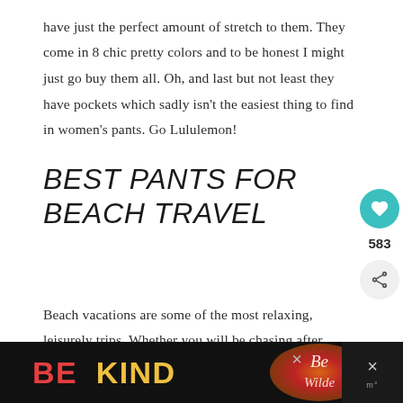have just the perfect amount of stretch to them. They come in 8 chic pretty colors and to be honest I might just go buy them all. Oh, and last but not least they have pockets which sadly isn't the easiest thing to find in women's pants. Go Lululemon!
BEST PANTS FOR BEACH TRAVEL
Beach vacations are some of the most relaxing, leisurely trips. Whether you will be chasing after kiddos making sand castles or chilling by the pool bar with pina colada, you are going to want to be lounging in comfy flowy pants. Here are some of our
[Figure (other): Social sidebar with heart/like button (teal circle with white heart icon), count 583, and share button]
[Figure (other): Bottom advertisement bar with 'BE KIND' text in red and yellow on black background, decorative script logo, and close buttons]